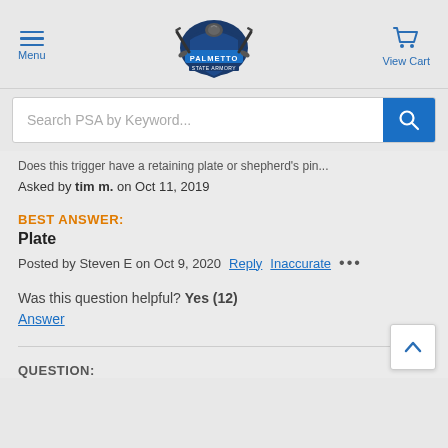[Figure (logo): Palmetto State Armory logo — crossed rifles with shield]
Menu
View Cart
Search PSA by Keyword...
Does this trigger have a retaining plate or shepherd's pin...
Asked by tim m. on Oct 11, 2019
BEST ANSWER:
Plate
Posted by Steven E on Oct 9, 2020  Reply  Inaccurate ...
Was this question helpful? Yes (12)
Answer
QUESTION: